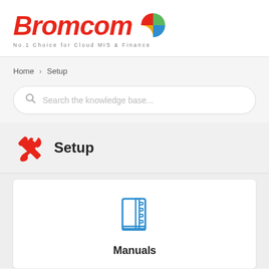[Figure (logo): Bromcom logo with red italic Bromcom text, pie chart icon (red, green, blue, orange segments), and tagline 'No.1 Choice for Cloud MIS & Finance']
Home > Setup
[Figure (other): Search bar with magnifying glass icon and placeholder text 'Search the knowledge base...']
Setup
[Figure (other): Blue outline book/manual icon]
Manuals